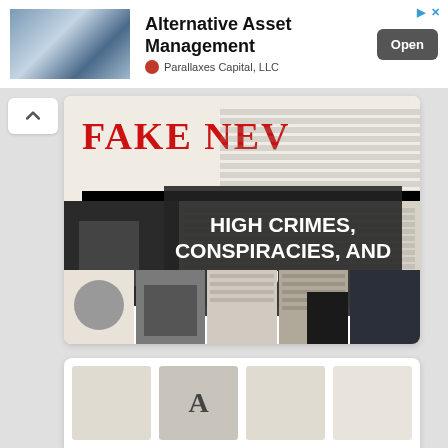[Figure (other): Advertisement banner: 'Alternative Asset Management' by Parallaxes Capital, LLC with Open button]
Alternative Asset Management
Parallaxes Capital, LLC
[Figure (illustration): Book cover collage showing 'FAKE NEWS' newspaper headline image and text overlay reading 'HIGH CRIMES, CONSPIRACIES, AND CULTS']
[Figure (illustration): Partial book cover visible at bottom of page]